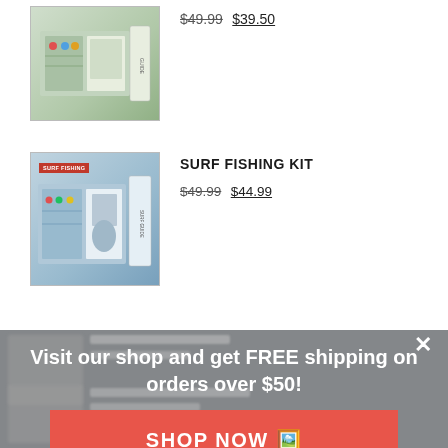[Figure (photo): Fishing kit product image (partially visible at top of page) showing tackle box and fishing book/magazine]
$49.99 $39.50
[Figure (photo): Surf fishing kit product image showing tackle box, lures, and a fishing guide book with SURF FISHING badge]
SURF FISHING KIT
$49.99 $44.99
[Figure (screenshot): Blurred background showing more product listings underneath the modal overlay]
Visit our shop and get FREE shipping on orders over $50!
SHOP NOW 🖼️